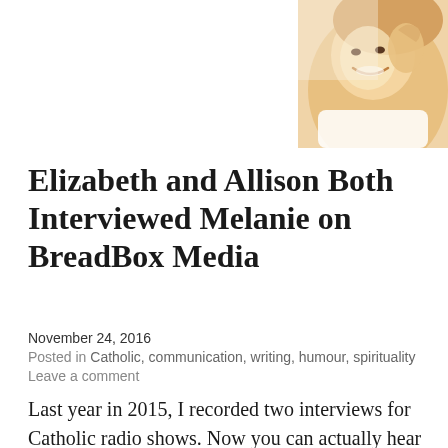[Figure (photo): Cropped photo of a smiling woman in a white tank top, visible from upper torso up, with hand near face, warm toned background]
Elizabeth and Allison Both Interviewed Melanie on BreadBox Media
November 24, 2016
Posted in Catholic, communication, writing, humour, spirituality
Leave a comment
Last year in 2015, I recorded two interviews for Catholic radio shows. Now you can actually hear